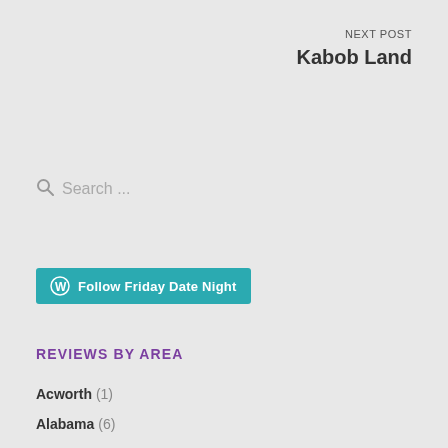NEXT POST
Kabob Land
Search ...
Follow Friday Date Night
REVIEWS BY AREA
Acworth (1)
Alabama (6)